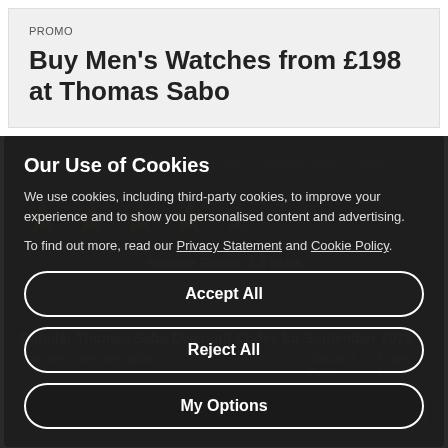PROMO
Buy Men's Watches from £198 at Thomas Sabo
Our Use of Cookies
We use cookies, including third-party cookies, to improve your experience and to show you personalised content and advertising.
To find out more, read our Privacy Statement and Cookie Policy.
Accept All
Reject All
My Options